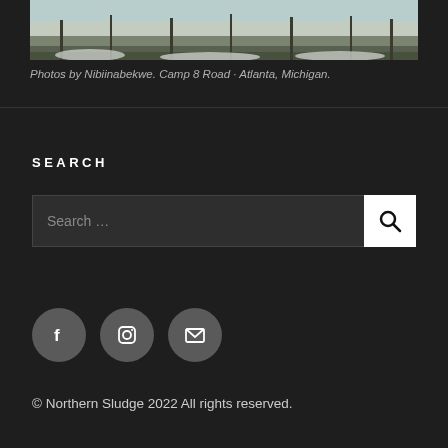[Figure (photo): Snowy forest trail at Camp 8 Road, Atlanta Michigan — winter scene with snow-covered ground and bare trees]
Photos by Nibiinabekwe. Camp 8 Road · Atlanta, Michigan.
SEARCH
Search …
[Figure (infographic): Social media icons: Facebook, Instagram, and Email (envelope)]
© Northern Sludge 2022 All rights reserved.